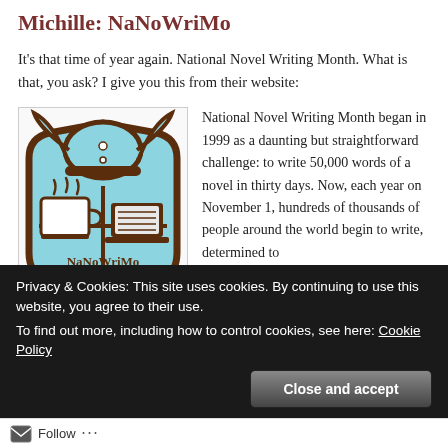Michille: NaNoWriMo
It's that time of year again. National Novel Writing Month. What is that, you ask? I give you this from their website:
[Figure (logo): NaNoWriMo logo — a shield with a viking helmet on top, a coffee mug and laptop inside, and 'NaNoWriMo' text below]
National Novel Writing Month began in 1999 as a daunting but straightforward challenge: to write 50,000 words of a novel in thirty days. Now, each year on November 1, hundreds of thousands of people around the world begin to write, determined to
Privacy & Cookies: This site uses cookies. By continuing to use this website, you agree to their use.
To find out more, including how to control cookies, see here: Cookie Policy
Close and accept
Follow